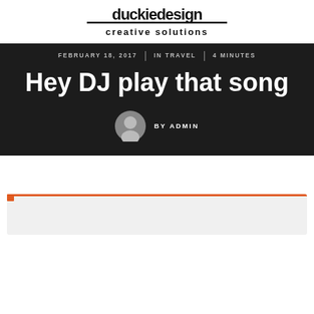[Figure (logo): Duckie Design creative solutions logo in black text]
FEBRUARY 18, 2017 | IN TRAVEL | 4 MINUTES
Hey DJ play that song
BY ADMIN
[Figure (other): Light gray card box with orange top-left accent border, partially visible at bottom of page]